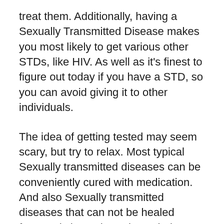treat them. Additionally, having a Sexually Transmitted Disease makes you most likely to get various other STDs, like HIV. As well as it's finest to figure out today if you have a STD, so you can avoid giving it to other individuals.
The idea of getting tested may seem scary, but try to relax. Most typical Sexually transmitted diseases can be conveniently cured with medication. And also Sexually transmitted diseases that can not be healed frequently have therapies to help you with signs and also to lower your possibilities of giving the Sexually Transmitted Disease to any person else. So the quicker you recognize you have a Sexually Transmitted Disease, the much faster you can start taking care of on your own and your companion(s).